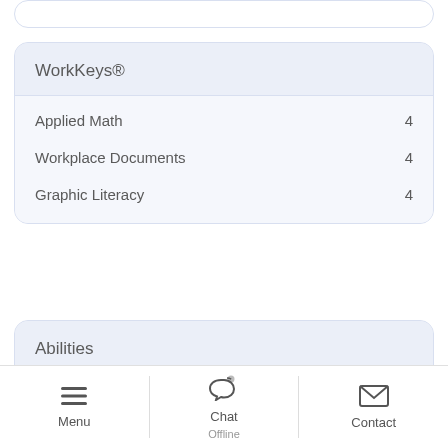WorkKeys®
Applied Math    4
Workplace Documents    4
Graphic Literacy    4
Abilities
Oral Comprehension
Listening and understanding what people say.
Menu   Chat Offline   Contact